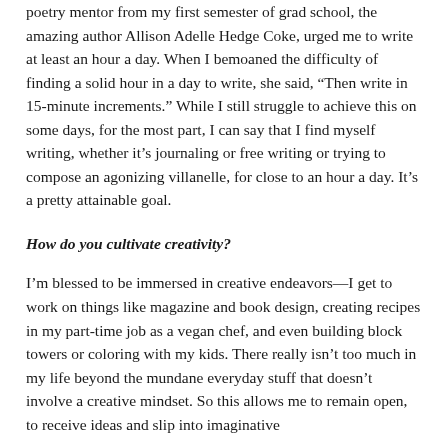poetry mentor from my first semester of grad school, the amazing author Allison Adelle Hedge Coke, urged me to write at least an hour a day. When I bemoaned the difficulty of finding a solid hour in a day to write, she said, “Then write in 15-minute increments.” While I still struggle to achieve this on some days, for the most part, I can say that I find myself writing, whether it’s journaling or free writing or trying to compose an agonizing villanelle, for close to an hour a day. It’s a pretty attainable goal.
How do you cultivate creativity?
I’m blessed to be immersed in creative endeavors—I get to work on things like magazine and book design, creating recipes in my part-time job as a vegan chef, and even building block towers or coloring with my kids. There really isn’t too much in my life beyond the mundane everyday stuff that doesn’t involve a creative mindset. So this allows me to remain open, to receive ideas and slip into imaginative